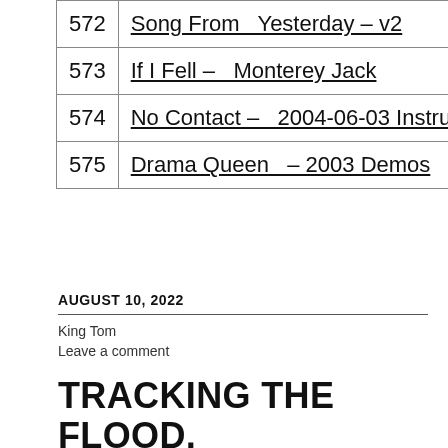| 572 | Song From  Yesterday – v2 |
| 573 | If I Fell –  Monterey Jack |
| 574 | No Contact –  2004-06-03 Instrumental |
| 575 | Drama Queen  – 2003 Demos |
AUGUST 10, 2022
King Tom
Leave a comment
TRACKING THE FLOOD, PART XXII